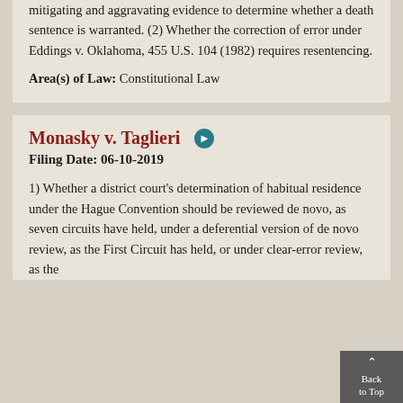mitigating and aggravating evidence to determine whether a death sentence is warranted. (2) Whether the correction of error under Eddings v. Oklahoma, 455 U.S. 104 (1982) requires resentencing.
Area(s) of Law: Constitutional Law
Monasky v. Taglieri
Filing Date: 06-10-2019
1) Whether a district court's determination of habitual residence under the Hague Convention should be reviewed de novo, as seven circuits have held, under a deferential version of de novo review, as the First Circuit has held, or under clear-error review, as the